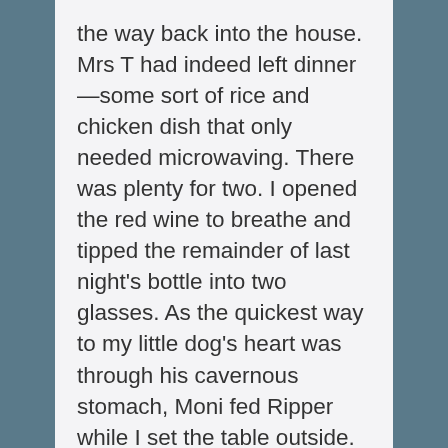the way back into the house. Mrs T had indeed left dinner—some sort of rice and chicken dish that only needed microwaving. There was plenty for two. I opened the red wine to breathe and tipped the remainder of last night's bottle into two glasses. As the quickest way to my little dog's heart was through his cavernous stomach, Moni fed Ripper while I set the table outside.
Over dinner, Moni talked about her new job. Her face glowed in the dim light as she talked about her days working with Royal Flying Doctor Service. All the way through Mrs T's chicken and rice, and through the bottle of wine, she told me about vaccinating children, delivering a